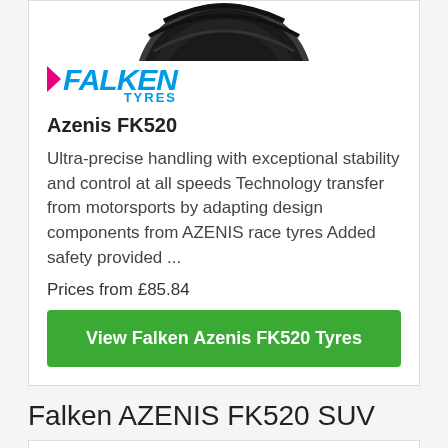[Figure (photo): Top portion of a Falken tire tread visible at top of card]
[Figure (logo): Falken Tyres logo in blue italic text with pink arrow]
Azenis FK520
Ultra-precise handling with exceptional stability and control at all speeds Technology transfer from motorsports by adapting design components from AZENIS race tyres Added safety provided ...
Prices from £85.84
View Falken Azenis FK520 Tyres
Falken AZENIS FK520 SUV
[Figure (photo): Partial view of a Falken tire tread at bottom of page]